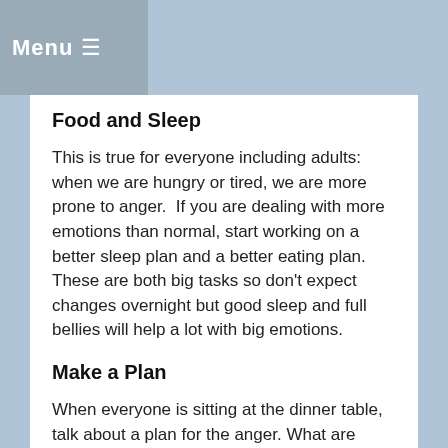Menu ☰
Food and Sleep
This is true for everyone including adults: when we are hungry or tired, we are more prone to anger.  If you are dealing with more emotions than normal, start working on a better sleep plan and a better eating plan.  These are both big tasks so don't expect changes overnight but good sleep and full bellies will help a lot with big emotions.
Make a Plan
When everyone is sitting at the dinner table, talk about a plan for the anger. What are some strategies? Have everyone go around the table and talk